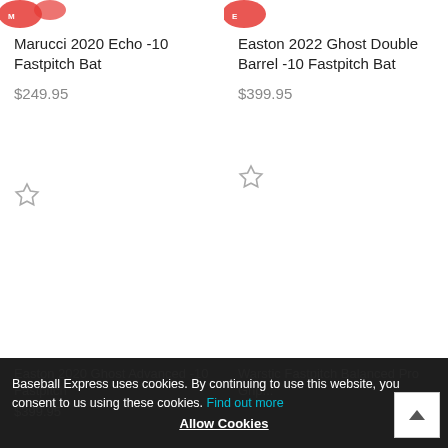[Figure (photo): Product image top-left: Marucci bat with red logo partially visible]
Marucci 2020 Echo -10 Fastpitch Bat
$249.95
[Figure (photo): Product image top-right: Easton bat with red logo partially visible]
Easton 2022 Ghost Double Barrel -10 Fastpitch Bat
$399.95
Easton 2020 Ghost Advanced -10 Fastpitch
$399.95
Warstic Fastpitch Balanced Pro Grip ...
Baseball Express uses cookies. By continuing to use this website, you consent to us using these cookies. Find out more
Allow Cookies